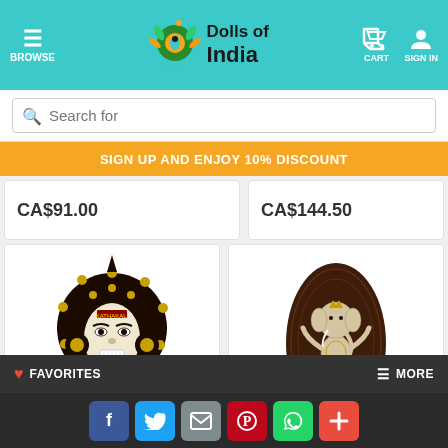Dolls of India — BROWSE, CART, SIGN IN
Search for
SIGN UP AND ENJOY 10% DISCOUNT
CA$91.00
CA$144.50
[Figure (photo): Wooden Kathakali face mask decoration with golden ornaments on dark background]
Wooden Kathakali Face -
[Figure (photo): Dancing Ganesha figure inlaid on dark oval wooden piece]
Dancing Ganesha - Inlaid
FAVORITES | MORE — Social share: Facebook, Twitter, Email, Pinterest, WhatsApp, Add